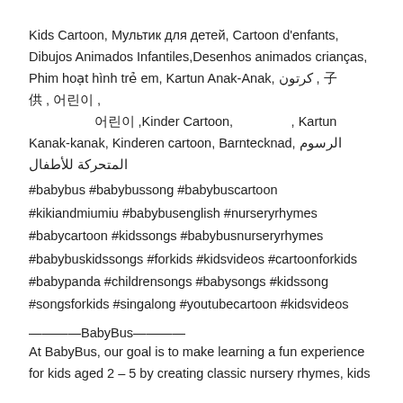Kids Cartoon, Мультик для детей, Cartoon d'enfants, Dibujos Animados Infantiles,Desenhos animados crianças, Phim hoạt hình trẻ em, Kartun Anak-Anak, كرتون, 子供, 어린이, 어린이 ,Kinder Cartoon, 子供の漫画, Kartun Kanak-kanak, Kinderen cartoon, Barntecknad, الرسوم المتحركة للأطفال
#babybus #babybussong #babybuscartoon #kikiandmiumiu #babybusenglish #nurseryrhymes #babycartoon #kidssongs #babybusnurseryrhymes #babybuskidssongs #forkids #kidsvideos #cartoonforkids #babypanda #childrensongs #babysongs #kidssong #songsforkids #singalong #youtubecartoon #kidsvideos
————BabyBus————
At BabyBus, our goal is to make learning a fun experience for kids aged 2 – 5 by creating classic nursery rhymes, kids